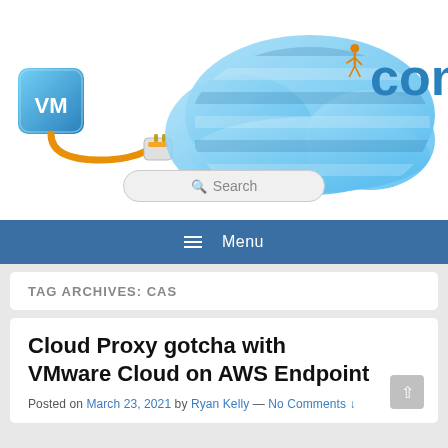[Figure (illustration): Website header illustration showing a blue VM box connected by an orange cable to a plug and a blue cloud shape with a checkered pattern, and orange human figures constructing 3D blue COM text on the right side. A search bar with magnifying glass icon is at the bottom center.]
≡  Menu
TAG ARCHIVES: CAS
Cloud Proxy gotcha with VMware Cloud on AWS Endpoint
Posted on March 23, 2021 by Ryan Kelly — No Comments ↓